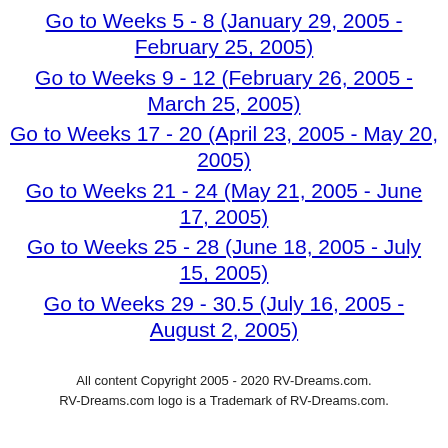Go to Weeks 5 - 8 (January 29, 2005 - February 25, 2005)
Go to Weeks 9 - 12 (February 26, 2005 - March 25, 2005)
Go to Weeks 17 - 20 (April 23, 2005 - May 20, 2005)
Go to Weeks 21 - 24 (May 21, 2005 - June 17, 2005)
Go to Weeks 25 - 28 (June 18, 2005 - July 15, 2005)
Go to Weeks 29 - 30.5 (July 16, 2005 - August 2, 2005)
All content Copyright 2005 - 2020 RV-Dreams.com. RV-Dreams.com logo is a Trademark of RV-Dreams.com.